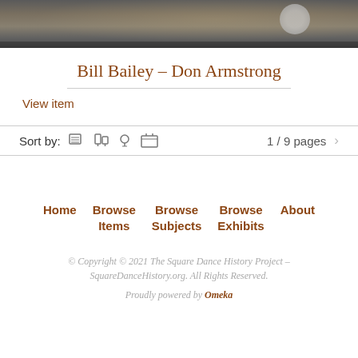[Figure (photo): Partial photo strip showing a scene, likely indoors with people or objects, cropped at top of page.]
Bill Bailey – Don Armstrong
View item
Sort by:  1 / 9 pages  >
Home   Browse Items   Browse Subjects   Browse Exhibits   About
© Copyright © 2021 The Square Dance History Project – SquareDanceHistory.org. All Rights Reserved.
Proudly powered by Omeka